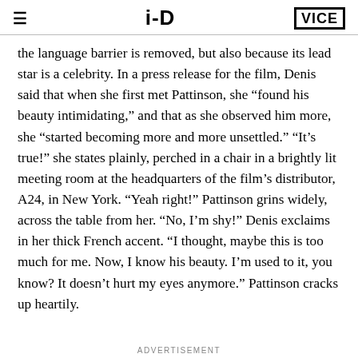i-D | VICE
the language barrier is removed, but also because its lead star is a celebrity. In a press release for the film, Denis said that when she first met Pattinson, she “found his beauty intimidating,” and that as she observed him more, she “started becoming more and more unsettled.” “It’s true!” she states plainly, perched in a chair in a brightly lit meeting room at the headquarters of the film’s distributor, A24, in New York. “Yeah right!” Pattinson grins widely, across the table from her. “No, I’m shy!” Denis exclaims in her thick French accent. “I thought, maybe this is too much for me. Now, I know his beauty. I’m used to it, you know? It doesn’t hurt my eyes anymore.” Pattinson cracks up heartily.
ADVERTISEMENT